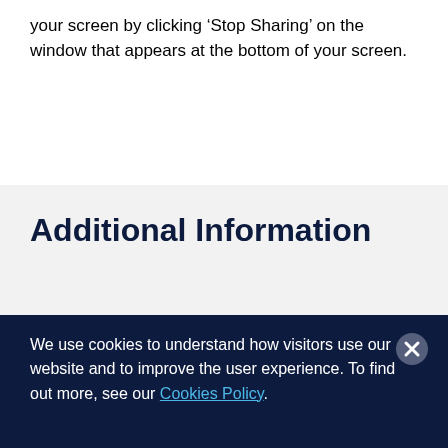your screen by clicking ‘Stop Sharing’ on the window that appears at the bottom of your screen.
Additional Information
We use cookies to understand how visitors use our website and to improve the user experience. To find out more, see our Cookies Policy.